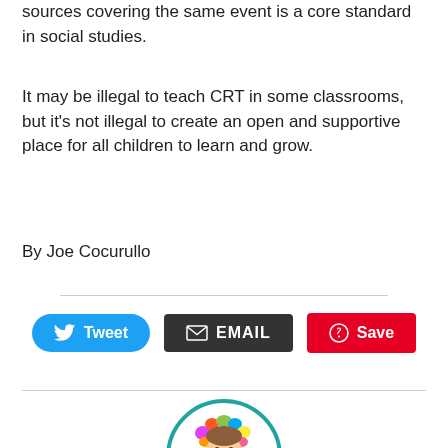sources covering the same event is a core standard in social studies.
It may be illegal to teach CRT in some classrooms, but it's not illegal to create an open and supportive place for all children to learn and grow.
By Joe Cocurullo
[Figure (other): Social sharing buttons: Tweet (Twitter/blue), EMAIL (dark background), Save (Pinterest/red)]
[Figure (logo): Teach 'n circular logo with colorful illustrated character and teal border]